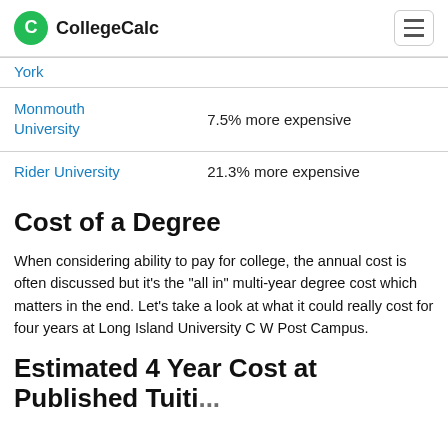CollegeCalc
| School | Comparison |
| --- | --- |
| York |  |
| Monmouth University | 7.5% more expensive |
| Rider University | 21.3% more expensive |
Cost of a Degree
When considering ability to pay for college, the annual cost is often discussed but it's the "all in" multi-year degree cost which matters in the end. Let's take a look at what it could really cost for four years at Long Island University C W Post Campus.
Estimated 4 Year Cost at Published Tuition